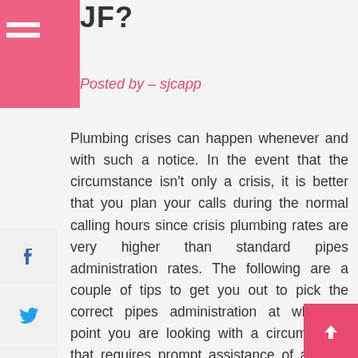JF?
Posted by - sjcapp
Plumbing crises can happen whenever and with such a notice. In the event that the circumstance isn't only a crisis, it is better that you plan your calls during the normal calling hours since crisis plumbing rates are very higher than standard pipes administration rates. The following are a couple of tips to get you out to pick the correct pipes administration at whatever point you are looking with a circumstance that requires prompt assistance of a pipes administration.
In the present occupied world, probably the